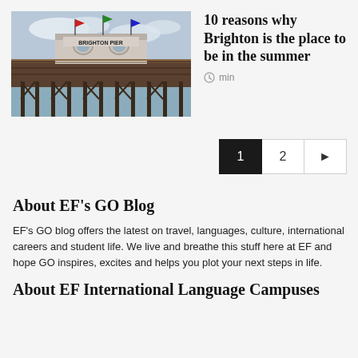[Figure (photo): Photo of Brighton Pier with wooden structure over the sea]
10 reasons why Brighton is the place to be in the summer
min
1  2  ▶
About EF's GO Blog
EF's GO blog offers the latest on travel, languages, culture, international careers and student life. We live and breathe this stuff here at EF and hope GO inspires, excites and helps you plot your next steps in life.
About EF International Language Campuses